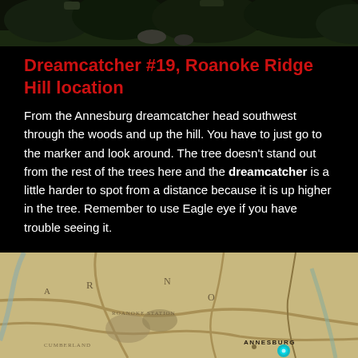[Figure (photo): Screenshot from a video game showing dense dark woods/forest area from a low angle with foliage and rocks visible.]
Dreamcatcher #19, Roanoke Ridge Hill location
From the Annesburg dreamcatcher head southwest through the woods and up the hill. You have to just go to the marker and look around. The tree doesn't stand out from the rest of the trees here and the dreamcatcher is a little harder to spot from a distance because it is up higher in the tree. Remember to use Eagle eye if you have trouble seeing it.
[Figure (map): In-game map showing the Roanoke Ridge area with Annesburg marked at the bottom right and a teal location marker pin visible near Annesburg.]